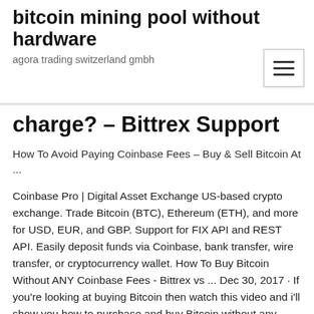bitcoin mining pool without hardware
agora trading switzerland gmbh
charge? – Bittrex Support
How To Avoid Paying Coinbase Fees – Buy & Sell Bitcoin At ...
Coinbase Pro | Digital Asset Exchange US-based crypto exchange. Trade Bitcoin (BTC), Ethereum (ETH), and more for USD, EUR, and GBP. Support for FIX API and REST API. Easily deposit funds via Coinbase, bank transfer, wire transfer, or cryptocurrency wallet. How To Buy Bitcoin Without ANY Coinbase Fees - Bittrex vs ... Dec 30, 2017 · If you're looking at buying Bitcoin then watch this video and i'll show you how to purchase and buy Bitcoin without any fees. Coinbase.comm charges fees for every transaction whether you're Bitcoin,Ethereum Transfer From Coinbase To Bittrex (2020 ... Why transfer from Coinbase to Bittrex. If anyone is new here